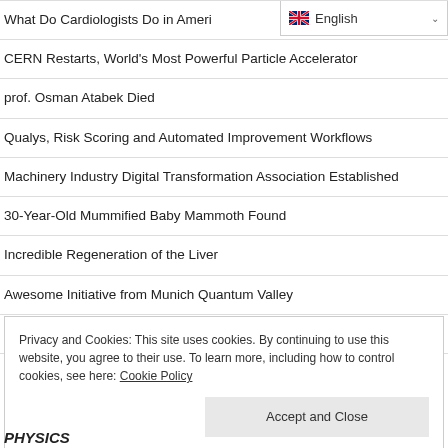What Do Cardiologists Do in Americ…
CERN Restarts, World's Most Powerful Particle Accelerator
prof. Osman Atabek Died
Qualys, Risk Scoring and Automated Improvement Workflows
Machinery Industry Digital Transformation Association Established
30-Year-Old Mummified Baby Mammoth Found
Incredible Regeneration of the Liver
Awesome Initiative from Munich Quantum Valley
Drone War and Ukraine-Russia
Privacy and Cookies: This site uses cookies. By continuing to use this website, you agree to their use. To learn more, including how to control cookies, see here: Cookie Policy
PHYSICS